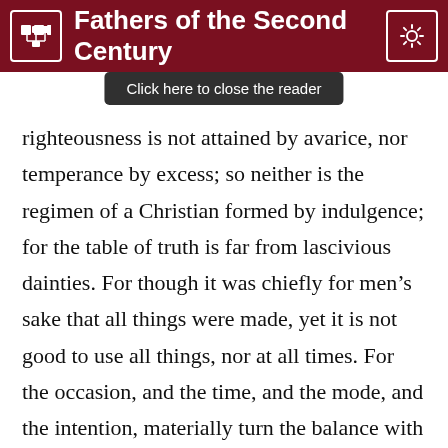Fathers of the Second Century
Click here to close the reader
righteousness is not attained by avarice, nor temperance by excess; so neither is the regimen of a Christian formed by indulgence; for the table of truth is far from lascivious dainties. For though it was chiefly for men’s sake that all things were made, yet it is not good to use all things, nor at all times. For the occasion, and the time, and the mode, and the intention, materially turn the balance with reference to what is useful, in the view of one who is rightly instructed; and this is suitable, and has influence in putting a stop to a life of gluttony, which wealth is prone to choose, not that wealth